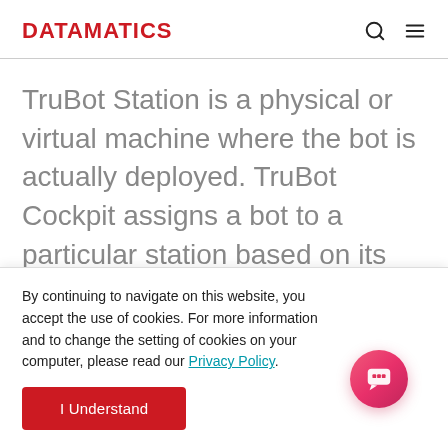DATAMATICS
TruBot Station is a physical or virtual machine where the bot is actually deployed. TruBot Cockpit assigns a bot to a particular station based on its availability, access to applications on
By continuing to navigate on this website, you accept the use of cookies. For more information and to change the setting of cookies on your computer, please read our Privacy Policy.
I Understand